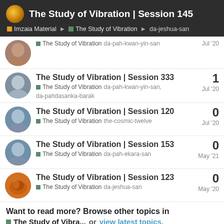The Study of Vibration | Session 145 — Imzaia Material > The Study of Vibration > da-jeshua-san
The Study of Vibration | Session 333 — The Study of Vibration — da-pah-kwan-yin-san, da-pahdasanka-barak — Jul '20 — replies: 1
The Study of Vibration | Session 120 — The Study of Vibration — the-cosmic-twelve — Jul '20 — replies: 0
The Study of Vibration | Session 153 — The Study of Vibration — da-pah-ekara-san — May '21 — replies: 0
The Study of Vibration | Session 123 — The Study of Vibration — da-jeshua-san — May '20 — replies: 0
Want to read more? Browse other topics in The Study of Vibra... or view latest topics.